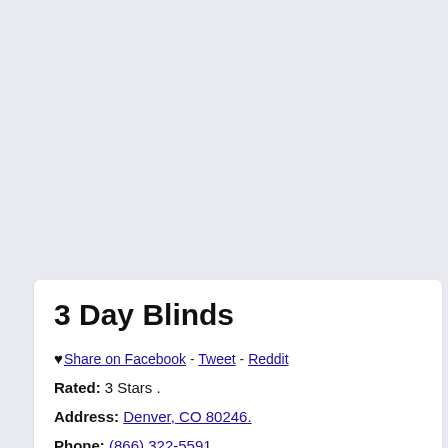Add or Update Your Free Business Listing
3 Day Blinds
♥ Share on Facebook - Tweet - Reddit
Rated: 3 Stars .
Address: Denver, CO 80246.
Phone: (866) 322-5591
Specialties: Shades Blinds 🔒